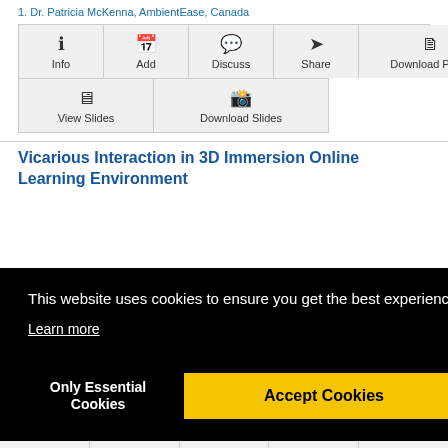1. Dr. Patricia McKenna, AmbientEase, Canada
[Figure (screenshot): UI button grid with Info, Add, Discuss, Share, Download Paper, View Slides, Download Slides buttons]
Vicarious Interaction in 3D Immersion Online Learning Environment
This website uses cookies to ensure you get the best experience on our website.
Learn more
Only Essential Cookies
Accept Cookies
Info Add Discuss Share Download Paper